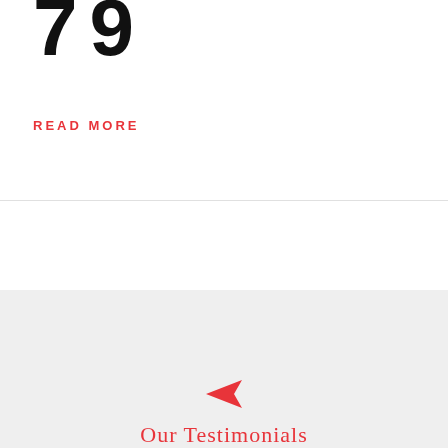7 9
READ MORE
[Figure (illustration): Small red arrow/cursor icon pointing left]
Our Testimonials